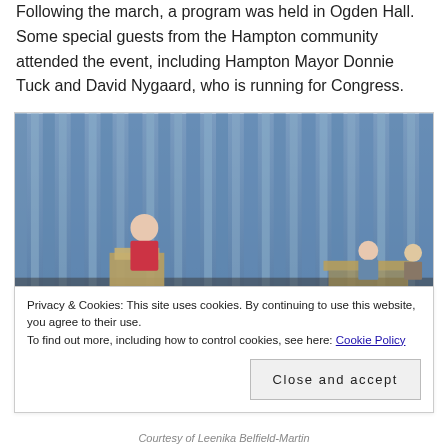Following the march, a program was held in Ogden Hall. Some special guests from the Hampton community attended the event, including Hampton Mayor Donnie Tuck and David Nygaard, who is running for Congress.
[Figure (photo): A person at a podium speaking in front of a blue curtain backdrop, with others seated at a table on stage.]
Privacy & Cookies: This site uses cookies. By continuing to use this website, you agree to their use.
To find out more, including how to control cookies, see here: Cookie Policy
Courtesy of Leenika Belfield-Martin